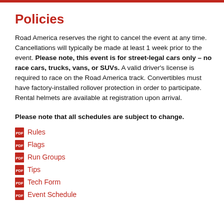Policies
Road America reserves the right to cancel the event at any time. Cancellations will typically be made at least 1 week prior to the event. Please note, this event is for street-legal cars only – no race cars, trucks, vans, or SUVs. A valid driver's license is required to race on the Road America track. Convertibles must have factory-installed rollover protection in order to participate. Rental helmets are available at registration upon arrival.
Please note that all schedules are subject to change.
Rules
Flags
Run Groups
Tips
Tech Form
Event Schedule